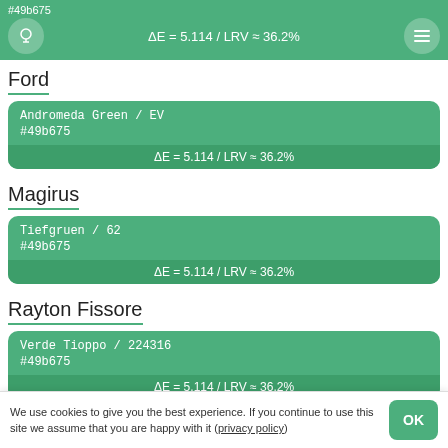#49b675 / ΔE = 5.114 / LRV ≈ 36.2%
Ford
Andromeda Green / EV
#49b675
ΔE = 5.114 / LRV ≈ 36.2%
Magirus
Tiefgruen / 62
#49b675
ΔE = 5.114 / LRV ≈ 36.2%
Rayton Fissore
Verde Tioppo / 224316
#49b675
ΔE = 5.114 / LRV ≈ 36.2%
Probe
We use cookies to give you the best experience. If you continue to use this site we assume that you are happy with it (privacy policy)